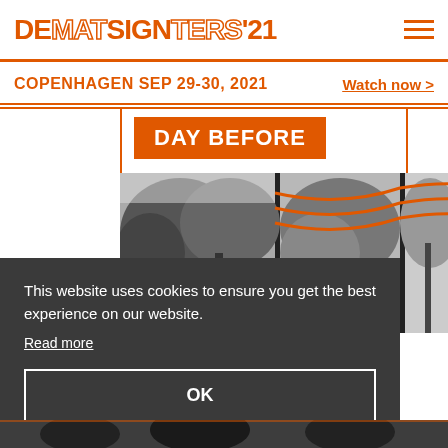DEMATSIGNTERS'21
COPENHAGEN SEP 29-30, 2021
Watch now >
DAY BEFORE
[Figure (photo): Black and white photo of trees and power lines with orange curved lines overlaid]
This website uses cookies to ensure you get the best experience on our website.
Read more
OK